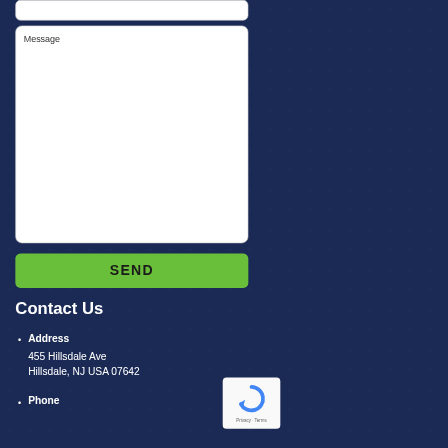Message
SEND
Contact Us
Address
455 Hillsdale Ave
Hillsdale, NJ USA 07642
Phone
[Figure (logo): Google reCAPTCHA logo with Privacy and Terms text]